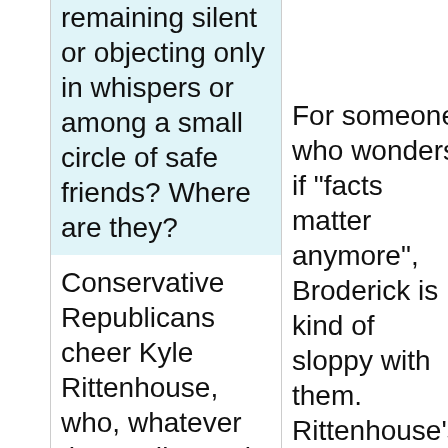remaining silent or objecting only in whispers or among a small circle of safe friends? Where are they?
Conservative Republicans cheer Kyle Rittenhouse, who, whatever the verdict, took two lives with
For someone who wonders if "facts matter anymore", Broderick is kind of sloppy with them. Rittenhouse's